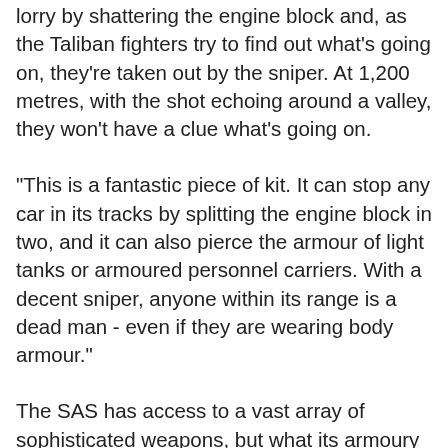lorry by shattering the engine block and, as the Taliban fighters try to find out what's going on, they're taken out by the sniper. At 1,200 metres, with the shot echoing around a valley, they won't have a clue what's going on.
"This is a fantastic piece of kit. It can stop any car in its tracks by splitting the engine block in two, and it can also pierce the armour of light tanks or armoured personnel carriers. With a decent sniper, anyone within its range is a dead man - even if they are wearing body armour."
The SAS has access to a vast array of sophisticated weapons, but what its armoury lacked was a sniper rifle that was relatively light but could pack a powerful punch.
The weapon was chosen after extensive and rigorous tests carried out by the Infantry Trials Development Unit. Marksmen gauged the weapon's accuracy and reliability under the most